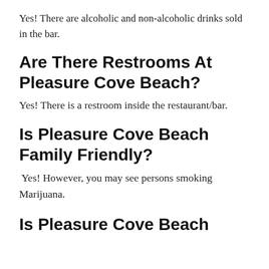Yes! There are alcoholic and non-alcoholic drinks sold in the bar.
Are There Restrooms At Pleasure Cove Beach?
Yes! There is a restroom inside the restaurant/bar.
Is Pleasure Cove Beach Family Friendly?
Yes! However, you may see persons smoking Marijuana.
Is Pleasure Cove Beach